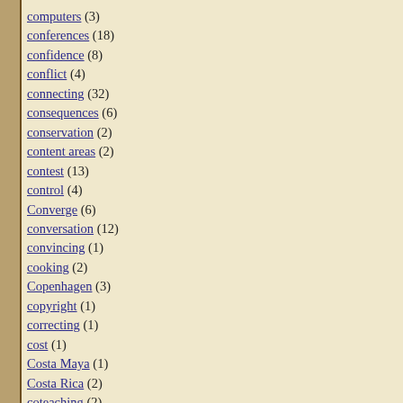computers (3)
conferences (18)
confidence (8)
conflict (4)
connecting (32)
consequences (6)
conservation (2)
content areas (2)
contest (13)
control (4)
Converge (6)
conversation (12)
convincing (1)
cooking (2)
Copenhagen (3)
copyright (1)
correcting (1)
cost (1)
Costa Maya (1)
Costa Rica (2)
coteaching (2)
cotton (1)
countdown (1)
courage (5)
Covid (1)
Cozumel (5)
CPR (1)
crafts (9)
creativity (27)